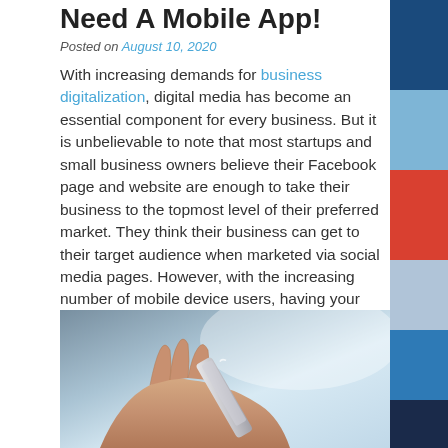Need A Mobile App!
Posted on August 10, 2020
With increasing demands for business digitalization, digital media has become an essential component for every business. But it is unbelievable to note that most startups and small business owners believe their Facebook page and website are enough to take their business to the topmost level of their preferred market. They think their business can get to their target audience when marketed via social media pages. However, with the increasing number of mobile device users, having your business on the web alone is not sufficient to reach your expected goal. The place for mobile apps cannot is irreplaceable.
[Figure (photo): A hand holding a smartphone, close-up photo with blurred background]